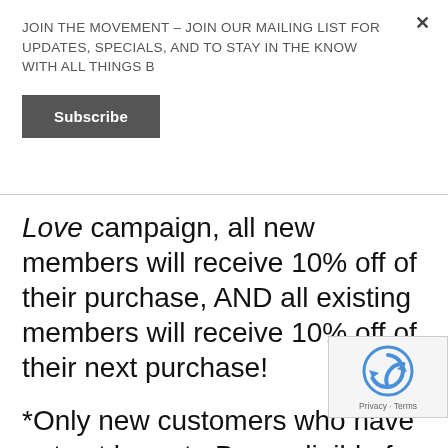JOIN THE MOVEMENT – JOIN OUR MAILING LIST FOR UPDATES, SPECIALS, AND TO STAY IN THE KNOW WITH ALL THINGS B
[Figure (other): Subscribe button — dark grey rectangular button with white bold text 'Subscribe']
Love campaign, all new members will receive 10% off of their purchase, AND all existing members will receive 10% off of their next purchase!
[Figure (other): reCAPTCHA badge with logo and Privacy · Terms links]
*Only new customers who have not yet been to B are eligible for this offer. Those who attended our